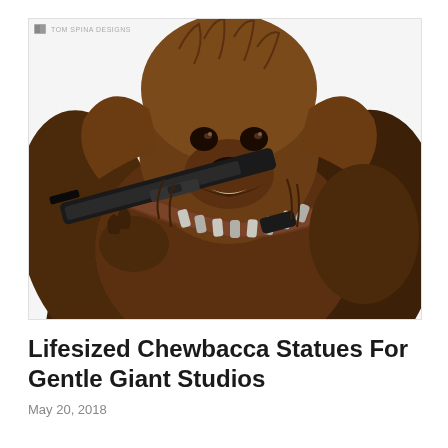[Figure (photo): A life-sized Chewbacca statue/costume figure holding a bowcaster/blaster rifle over the shoulder, with brown fur, leather bandolier with silver cylinders, on a white background. Watermark in top-left: 'TOM SPINA DESIGNS' with a small logo icon.]
Lifesized Chewbacca Statues For Gentle Giant Studios
May 20, 2018